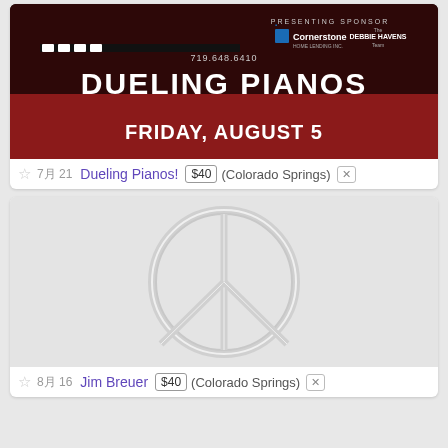[Figure (illustration): Dueling Pianos event poster - PRESENTING SPONSOR Cornerstone / DEBBIE HAVENS Team, 719.648.6410, DUELING PIANOS, FRIDAY, AUGUST 5]
70 21  Dueling Pianos!  $40  (Colorado Springs)  [x]
[Figure (illustration): Gray placeholder image with embossed peace sign logo]
80 16  Jim Breuer  $40  (Colorado Springs)  [x]